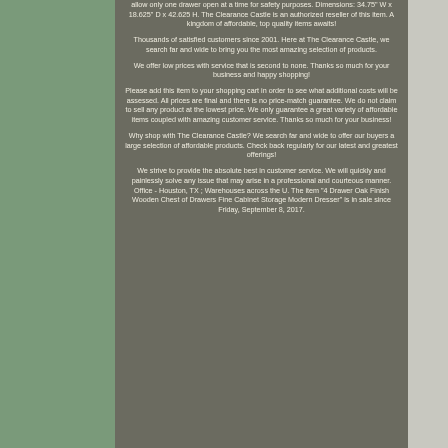allow only one drawer open at a time for safety purposes. Dimensions: 34.75" W x 18.625" D x 42.625 H. The Clearance Castle is an authorized reseller of this item. A kingdom of affordable, top quality items awaits!
Thousands of satisfied customers since 2001. Here at The Clearance Castle, we search far and wide to bring you the most amazing selection of products.
We offer low prices with service that is second to none. Thanks so much for your business and happy shopping!
Please add this item to your shopping cart in order to see what additional costs will be assessed. All prices are final and there is no price-match guarantee. We do not claim to sell any product at the lowest price. We only guarantee a great variety of affordable items coupled with amazing customer service. Thanks so much for your business!
Why shop with The Clearance Castle? We search far and wide to offer our buyers a large selection of affordable products. Check back regularly for our latest and greatest offerings!
We strive to provide the absolute best in customer service. We will quickly and painlessly solve any issue that may arise in a professional and courteous manner. Office - Houston, TX ; Warehouses across the U. The item "4 Drawer Oak Finish Wooden Chest of Drawers Fine Cabinet Storage Modern Dresser" is in sale since Friday, September 8, 2017.